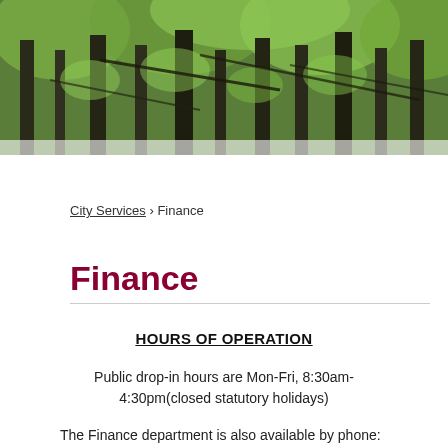[Figure (photo): Aerial or ground-level view of a dense green moss-covered forest with tall coniferous trees and dark tree trunks]
City Services › Finance
Finance
HOURS OF OPERATION
Public drop-in hours are Mon-Fri, 8:30am-4:30pm(closed statutory holidays)
The Finance department is also available by phone: